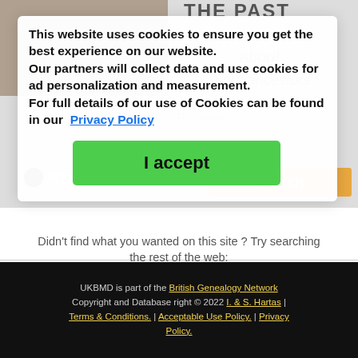[Figure (screenshot): Background screenshot of MyHeritage genealogy website with old photographs, search form, and partially visible content]
This website uses cookies to ensure you get the best experience on our website. Our partners will collect data and use cookies for ad personalization and measurement. For full details of our use of Cookies can be found in our Privacy Policy
I accept
Didn't find what you wanted on this site ? Try searching the rest of the web:
[Figure (logo): Google logo with colorful letters and trademark symbol]
UKBMD is part of the British Genealogy Network Copyright and Database right © 2022 I. & S. Hartas | Terms & Conditions. | Acceptable Use Policy. | Privacy Policy.